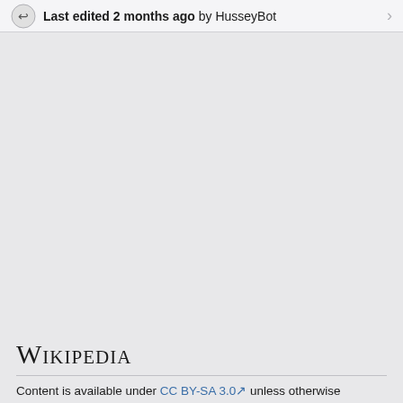Last edited 2 months ago by HusseyBot
Wikipedia
Content is available under CC BY-SA 3.0 unless otherwise